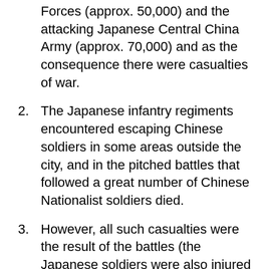Forces (approx. 50,000) and the attacking Japanese Central China Army (approx. 70,000) and as the consequence there were casualties of war.
2. The Japanese infantry regiments encountered escaping Chinese soldiers in some areas outside the city, and in the pitched battles that followed a great number of Chinese Nationalist soldiers died.
3. However, all such casualties were the result of the battles (the Japanese soldiers were also injured and died). There was NO massacre of Nanking citizens and